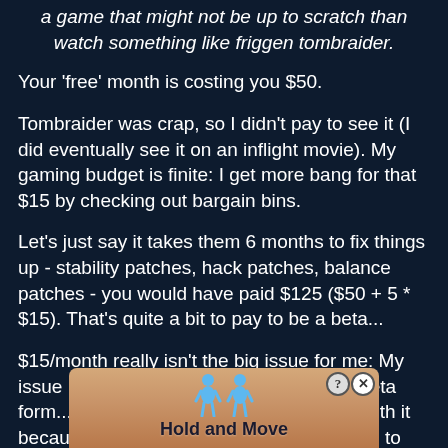a game that might not be up to scratch than watch something like friggen tombraider.
Your 'free' month is costing you $50.
Tombraider was crap, so I didn't pay to see it (I did eventually see it on an inflight movie). My gaming budget is finite: I get more bang for that $15 by checking out bargain bins.
Let's just say it takes them 6 months to fix things up - stability patches, hack patches, balance patches - you would have paid $125 ($50 + 5 * $15). That's quite a bit to pay to be a beta...
$15/month really isn't the big issue for me: My issue is another game being released in beta form...and that they're going to get away with it because it's Star Wars. Would you pay $15 to see a ha... n $5/m... hey
[Figure (other): Mobile advertisement overlay showing 'Hold and Move' game with blue figure icons and a close button]